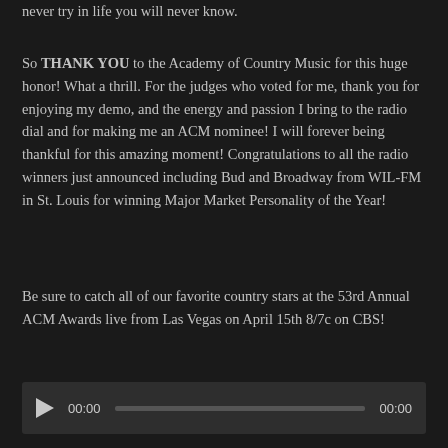never try in life you will never know.
So THANK YOU to the Academy of Country Music for this huge honor!  What a thrill.  For the judges who voted for me, thank you for enjoying my demo, and the energy and passion I bring to the radio dial and for making me an ACM nominee!  I will forever being thankful for this amazing moment!  Congratulations to all the radio winners just announced including Bud and Broadway from WIL-FM in St. Louis for winning Major Market Personality of the Year!
Be sure to catch all of our favorite country stars at the 53rd Annual ACM Awards live from Las Vegas on April 15th 8/7c on CBS!
[Figure (other): Audio player widget with play button, time display 00:00, progress bar, and end time 00:00]